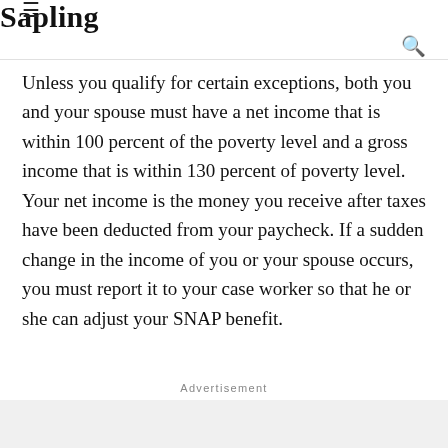Sapling
Unless you qualify for certain exceptions, both you and your spouse must have a net income that is within 100 percent of the poverty level and a gross income that is within 130 percent of poverty level. Your net income is the money you receive after taxes have been deducted from your paycheck. If a sudden change in the income of you or your spouse occurs, you must report it to your case worker so that he or she can adjust your SNAP benefit.
Advertisement